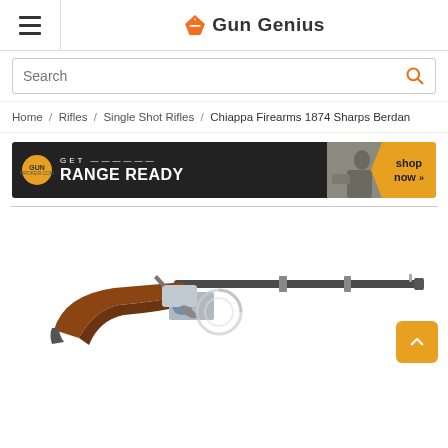Gun Genius
Search
Home / Rifles / Single Shot Rifles / Chiappa Firearms 1874 Sharps Berdan
[Figure (infographic): Gun Broker advertisement banner: GET RANGE READY shop now]
[Figure (photo): Chiappa Firearms 1874 Sharps Berdan rifle shown in side profile view with wooden stock and long barrel]